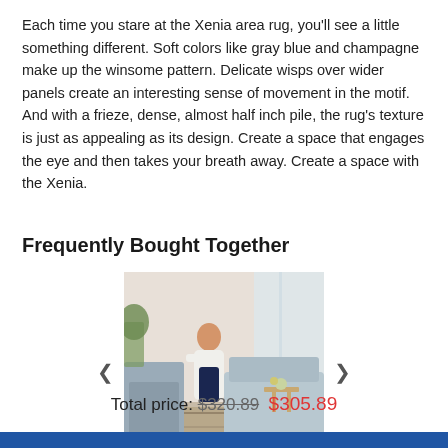Each time you stare at the Xenia area rug, you'll see a little something different. Soft colors like gray blue and champagne make up the winsome pattern. Delicate wisps over wider panels create an interesting sense of movement in the motif. And with a frieze, dense, almost half inch pile, the rug's texture is just as appealing as its design. Create a space that engages the eye and then takes your breath away. Create a space with the Xenia.
Frequently Bought Together
[Figure (photo): Photo of a living room interior with a woman sitting on a chair on a patterned rug, with a 'Pier 1 Rewards' banner overlay at the bottom of the image. Navigation arrows on left and right sides.]
Total price: $320.89 $305.89